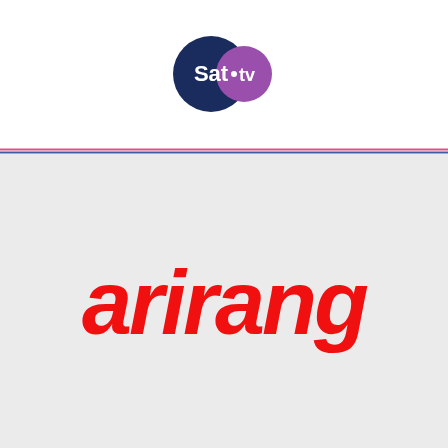[Figure (logo): Sat.tv logo — dark blue circle with 'Sat' in white text and a purple circle with 'tv' in white text]
[Figure (logo): arirang TV channel logo in red italic rounded font on light grey background]